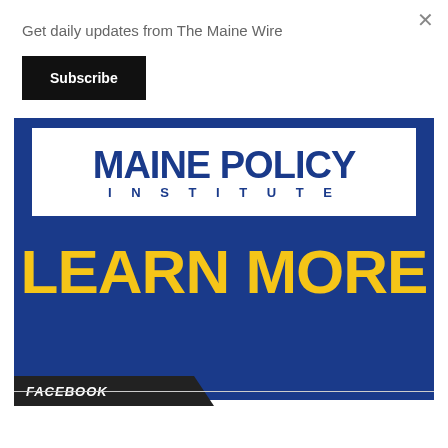Get daily updates from The Maine Wire
×
Subscribe
[Figure (logo): Maine Policy Institute advertisement banner with white logo area on top and 'LEARN MORE' in yellow text on blue background]
FACEBOOK